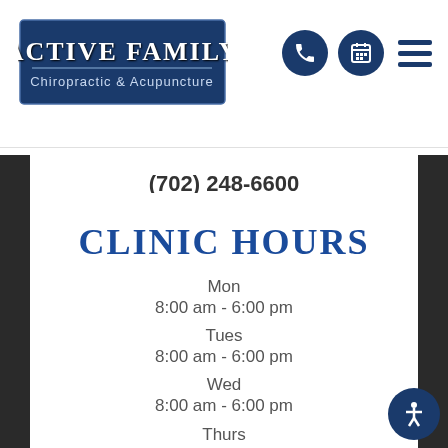Active Family Chiropractic & Acupuncture — navigation header with logo and icons
(702) 248-6600
CLINIC HOURS
Mon
8:00 am - 6:00 pm
Tues
8:00 am - 6:00 pm
Wed
8:00 am - 6:00 pm
Thurs